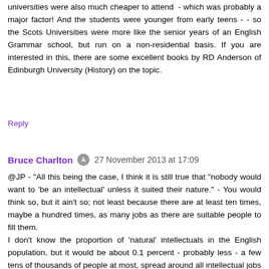universities were also much cheaper to attend - which was probably a major factor! And the students were younger from early teens - - so the Scots Universities were more like the senior years of an English Grammar school, but run on a non-residential basis. If you are interested in this, there are some excellent books by RD Anderson of Edinburgh University (History) on the topic.
Reply
Bruce Charlton · 27 November 2013 at 17:09
@JP - "All this being the case, I think it is still true that "nobody would want to 'be an intellectual' unless it suited their nature." - You would think so, but it ain't so; not least because there are at least ten times, maybe a hundred times, as many jobs as there are suitable people to fill them.
I don't know the proportion of 'natural' intellectuals in the English population, but it would be about 0.1 percent - probably less - a few tens of thousands of people at most, spread around all intellectual jobs - some hundreds of